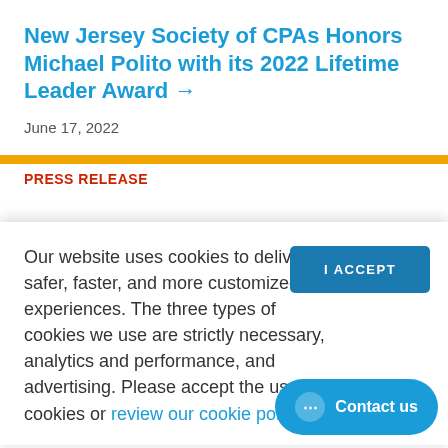New Jersey Society of CPAs Honors Michael Polito with its 2022 Lifetime Leader Award →
June 17, 2022
PRESS RELEASE
Our website uses cookies to deliver safer, faster, and more customized site experiences. The three types of cookies we use are strictly necessary, analytics and performance, and advertising. Please accept the use of cookies or review our cookie policy.
I ACCEPT
Contact us